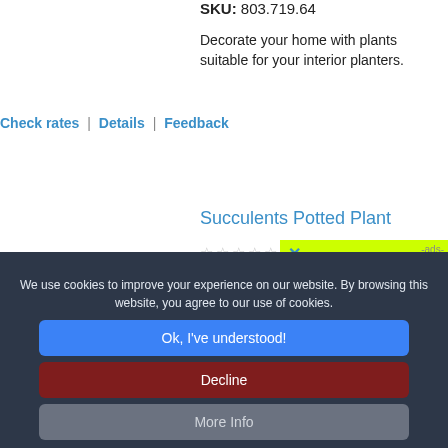SKU: 803.719.64
Decorate your home with plants suitable for your interior planters.
Check rates | Details | Feedback
Succulents Potted Plant
0.0 /5
[Figure (other): Advertisement banner with yellow-green background reading AVAILABLE REBATES IN YOUR STATE with a blue X close button and -ads- label]
We use cookies to improve your experience on our website. By browsing this website, you agree to our use of cookies.
Ok, I've understood!
Decline
More Info